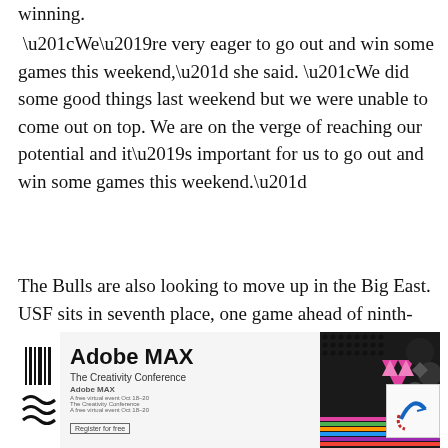winning.
“We’re very eager to go out and win some games this weekend,” she said. “We did some good things last weekend but we were unable to come out on top. We are on the verge of reaching our potential and it’s important for us to go out and win some games this weekend.”
The Bulls are also looking to move up in the Big East. USF sits in seventh place, one game ahead of ninth-place Seton Hall.
[Figure (screenshot): Adobe MAX advertisement banner showing 'Adobe MAX - The Creativity Conference' with geometric shapes and patterns in pink, black and gray colors. An overlay shows a duplicate of the same banner below it with smaller text.]